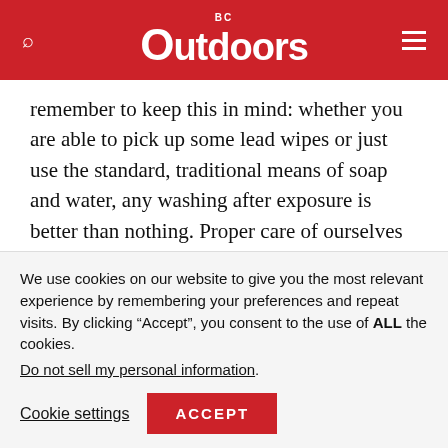BC Outdoors
remember to keep this in mind: whether you are able to pick up some lead wipes or just use the standard, traditional means of soap and water, any washing after exposure is better than nothing. Proper care of ourselves and our children is paramount to future enjoyment and survival of our sport. Go out and enjoy the great outdoors with friends and family, just be safe at every level. If you are teaching a child or mentoring
We use cookies on our website to give you the most relevant experience by remembering your preferences and repeat visits. By clicking “Accept”, you consent to the use of ALL the cookies.
Do not sell my personal information.
Cookie settings  ACCEPT